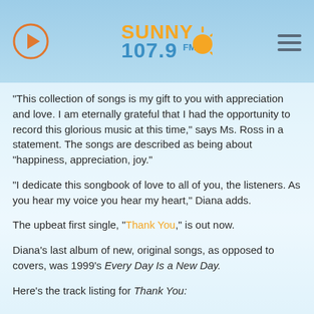[Figure (logo): Sunny 107.9 FM radio station logo with orange sun graphic, play button icon on left, hamburger menu icon on right]
“This collection of songs is my gift to you with appreciation and love. I am eternally grateful that I had the opportunity to record this glorious music at this time,” says Ms. Ross in a statement. The songs are described as being about “happiness, appreciation, joy.”
“I dedicate this songbook of love to all of you, the listeners. As you hear my voice you hear my heart,” Diana adds.
The upbeat first single, “Thank You,” is out now.
Diana’s last album of new, original songs, as opposed to covers, was 1999’s Every Day Is a New Day.
Here’s the track listing for Thank You: